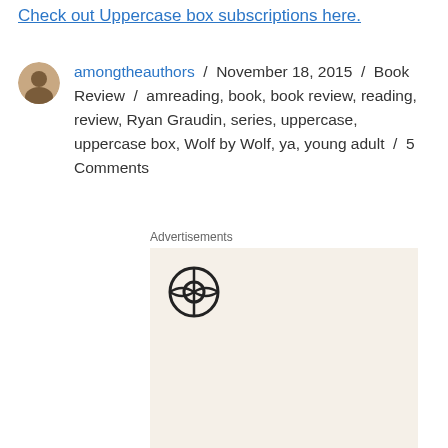Check out Uppercase box subscriptions here.
amongtheauthors / November 18, 2015 / Book Review / amreading, book, book review, reading, review, Ryan Graudin, series, uppercase, uppercase box, Wolf by Wolf, ya, young adult / 5 Comments
Advertisements
[Figure (logo): WordPress advertisement banner with WordPress logo and text 'Professionally designed sites in less than a week']